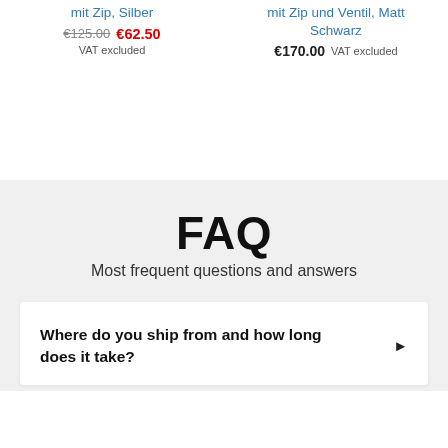mit Zip, Silber
€125.00  €62.50
VAT excluded
mit Zip und Ventil, Matt Schwarz
€170.00 VAT excluded
FAQ
Most frequent questions and answers
Where do you ship from and how long does it take?